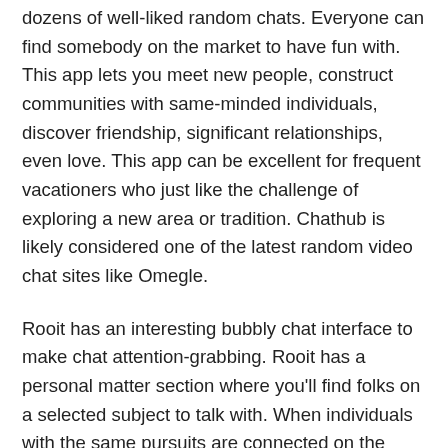dozens of well-liked random chats. Everyone can find somebody on the market to have fun with. This app lets you meet new people, construct communities with same-minded individuals, discover friendship, significant relationships, even love. This app can be excellent for frequent vacationers who just like the challenge of exploring a new area or tradition. Chathub is likely considered one of the latest random video chat sites like Omegle.
Rooit has an interesting bubbly chat interface to make chat attention-grabbing. Rooit has a personal matter section where you'll find folks on a selected subject to talk with. When individuals with the same pursuits are connected on the video name, it makes you're feeling pleased and fascinated. By using any specific subject of interest, you can chat with folks.
Mamba can be thought-about as one of many largest social